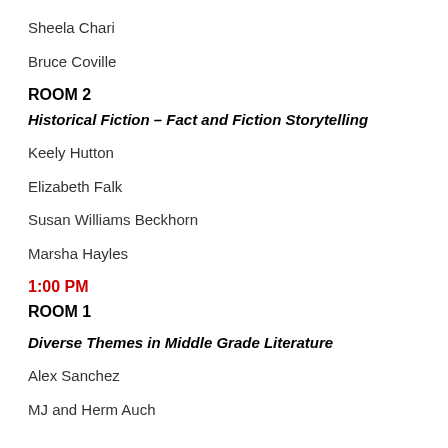Sheela Chari
Bruce Coville
ROOM 2
Historical Fiction – Fact and Fiction Storytelling
Keely Hutton
Elizabeth Falk
Susan Williams Beckhorn
Marsha Hayles
1:00 PM
ROOM 1
Diverse Themes in Middle Grade Literature
Alex Sanchez
MJ and Herm Auch